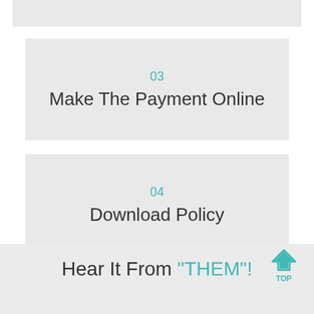03
Make The Payment Online
04
Download Policy
Hear It From “THEM”!